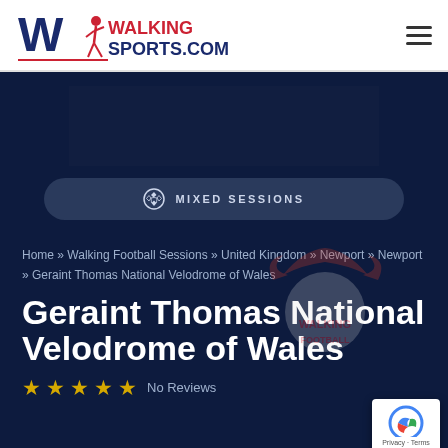[Figure (logo): Walking Sports.com logo with stylized W and running figure in navy and red]
WALKING SPORTS.COM
[Figure (infographic): Soccer ball icon next to MIXED SESSIONS text in a dark rounded pill button]
Home » Walking Football Sessions » United Kingdom » Newport » Newport » Geraint Thomas National Velodrome of Wales
Geraint Thomas National Velodrome of Wales
★ ★ ★ ★ ★ No Reviews